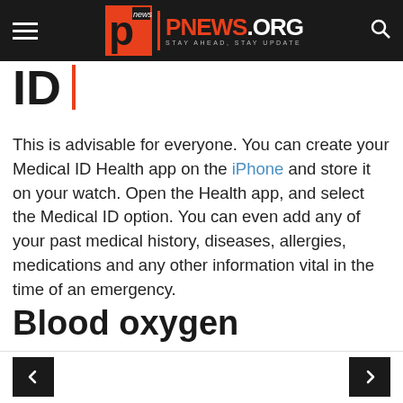PNEWS.ORG — STAY AHEAD, STAY UPDATE
ID
This is advisable for everyone. You can create your Medical ID Health app on the iPhone and store it on your watch. Open the Health app, and select the Medical ID option. You can even add any of your past medical history, diseases, allergies, medications and any other information vital in the time of an emergency.
Blood oxygen sensor
< >